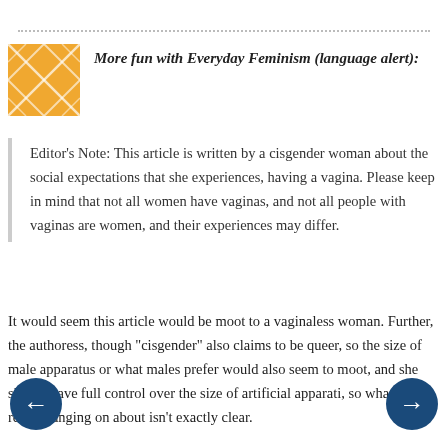More fun with Everyday Feminism (language alert):
Editor's Note: This article is written by a cisgender woman about the social expectations that she experiences, having a vagina. Please keep in mind that not all women have vaginas, and not all people with vaginas are women, and their experiences may differ.
It would seem this article would be moot to a vaginaless woman. Further, the authoress, though "cisgender" also claims to be queer, so the size of male apparatus or what males prefer would also seem to moot, and she should have full control over the size of artificial apparati, so what she is really banging on about isn't exactly clear.